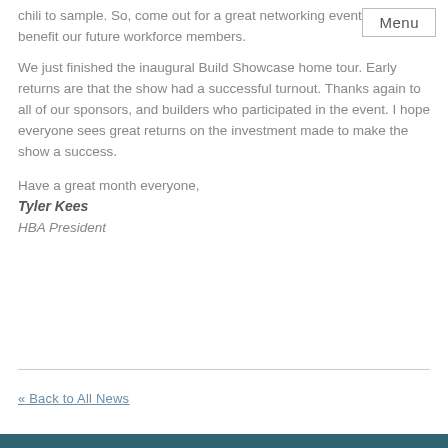chili to sample. So, come out for a great networking event that helps benefit our future workforce members.
We just finished the inaugural Build Showcase home tour. Early returns are that the show had a successful turnout. Thanks again to all of our sponsors, and builders who participated in the event. I hope everyone sees great returns on the investment made to make the show a success.
Have a great month everyone,
Tyler Kees
HBA President
« Back to All News